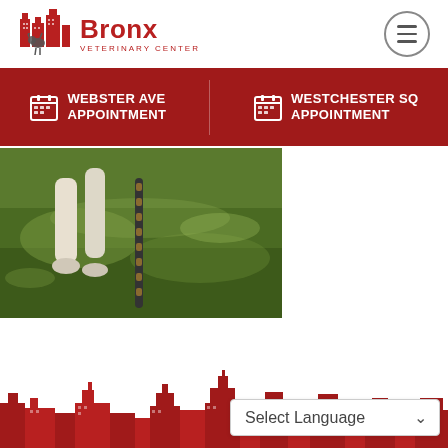[Figure (logo): Bronx Veterinary Center logo with red buildings silhouette and animal figures]
Bronx
VETERINARY CENTER
WEBSTER AVE APPOINTMENT
WESTCHESTER SQ APPOINTMENT
[Figure (photo): Close-up of dog paws and a leash on green grass]
[Figure (illustration): Red city skyline silhouette at the bottom of the page]
Select Language